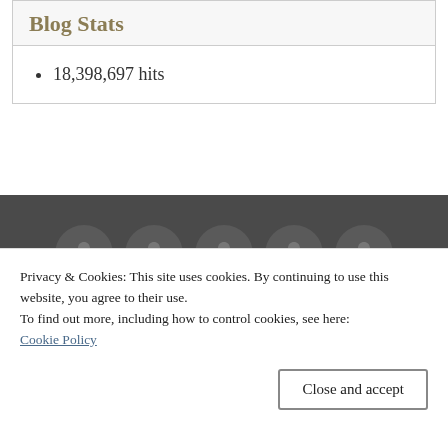Blog Stats
18,398,697 hits
[Figure (illustration): Five circular avatar/user icons in a row on a dark grey footer background]
© 2010-2022 homeiswheretheboatis.net All Rights Reserved. Home is Where the Boat Is and all content and photographs are copyright protected. Using content including but not limited to
Privacy & Cookies: This site uses cookies. By continuing to use this website, you agree to their use.
To find out more, including how to control cookies, see here:
Cookie Policy
Close and accept